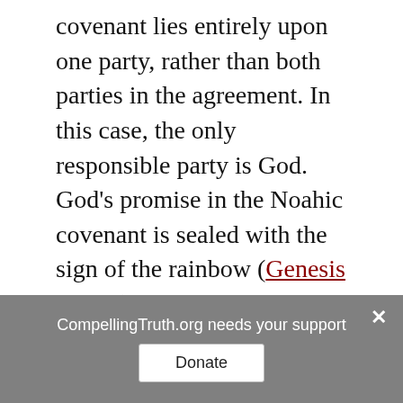covenant lies entirely upon one party, rather than both parties in the agreement. In this case, the only responsible party is God. God's promise in the Noahic covenant is sealed with the sign of the rainbow (Genesis 9:8-17).
Genesis chapter 6 records God's determination to destroy the earth, and all living creatures upon the earth, with a worldwide flood. In that time, God saw that men were evil; in fact, man was so evil that "every intention of the thoughts
CompellingTruth.org needs your support
Donate